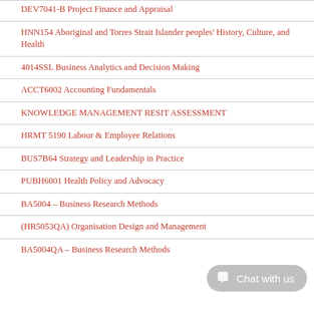DEV7041-B Project Finance and Appraisal
HNN154 Aboriginal and Torres Strait Islander peoples' History, Culture, and Health
4014SSL Business Analytics and Decision Making
ACCT6002 Accounting Fundamentals
KNOWLEDGE MANAGEMENT RESIT ASSESSMENT
HRMT 5190 Labour & Employee Relations
BUS7B64 Strategy and Leadership in Practice
PUBH6001 Health Policy and Advocacy
BA5004 – Business Research Methods
(HR5053QA) Organisation Design and Management
BA5004QA – Business Research Methods